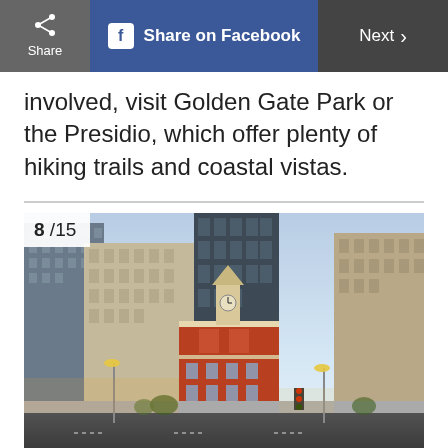Share | Share on Facebook | Next >
involved, visit Golden Gate Park or the Presidio, which offer plenty of hiking trails and coastal vistas.
[Figure (photo): Urban street scene showing a historic red-brick building (Old State House) surrounded by modern skyscrapers in a city downtown, with street lights and traffic signals visible. Slide number 8/15 overlaid in top-left corner.]